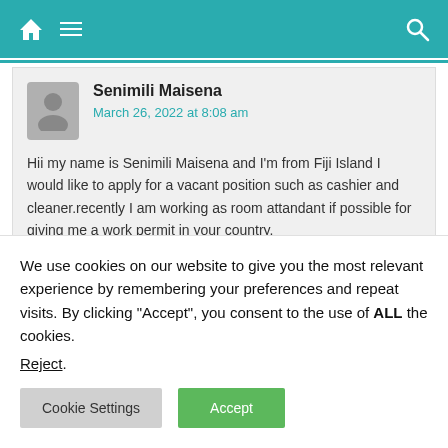Navigation bar with home, menu, and search icons
Senimili Maisena
March 26, 2022 at 8:08 am
Hii my name is Senimili Maisena and I'm from Fiji Island I would like to apply for a vacant position such as cashier and cleaner.recently I am working as room attandant if possible for giving me a work permit in your country.
We use cookies on our website to give you the most relevant experience by remembering your preferences and repeat visits. By clicking "Accept", you consent to the use of ALL the cookies.
Reject.
Cookie Settings  Accept